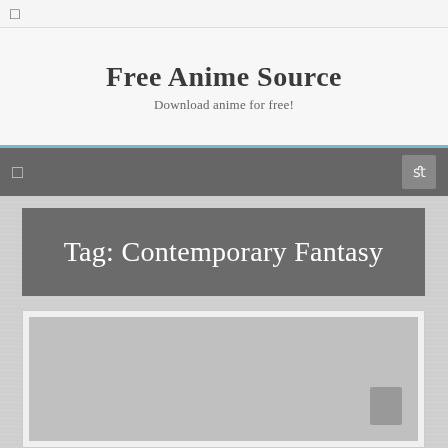☰
Free Anime Source
Download anime for free!
☰
Tag: Contemporary Fantasy
[Figure (photo): Placeholder image area for anime content card, large grey rectangle with a small grey scroll button in the bottom right corner]